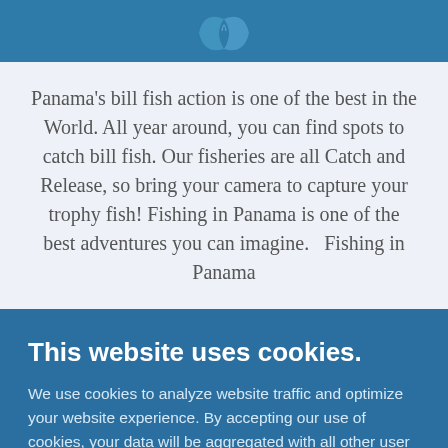[Figure (photo): Blue header image with a fish tail visible at the bottom center]
Panama's bill fish action is one of the best in the World. All year around, you can find spots to catch bill fish. Our fisheries are all Catch and Release, so bring your camera to capture your trophy fish! Fishing in Panama is one of the best adventures you can imagine.   Fishing in Panama
This website uses cookies.
We use cookies to analyze website traffic and optimize your website experience. By accepting our use of cookies, your data will be aggregated with all other user data. Fishing in Panama